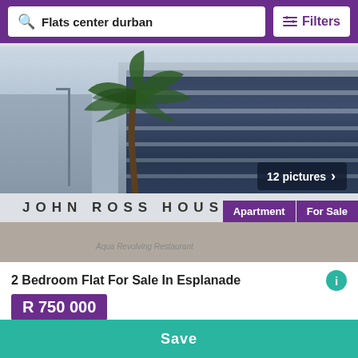Flats center durban | Filters
[Figure (photo): Exterior photo of John Ross House building in Durban, showing a tall multi-story building with glass facade, palm tree in foreground. Tags: Apartment, For Sale. Badge: 12 pictures.]
2 Bedroom Flat For Sale In Esplanade
R 750 000
Durban, Kwazulu-natal
2 bedrooms  1 bathroom
Save